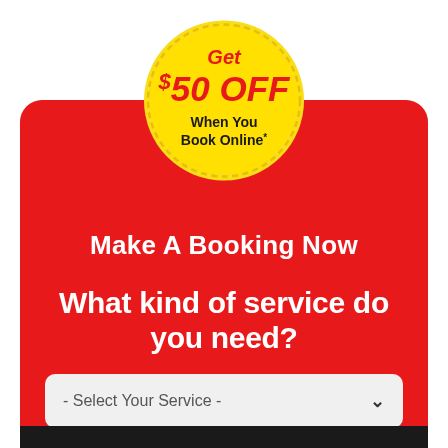[Figure (infographic): Yellow circle badge with dashed border containing promotional text: Get $50 OFF When You Book Online*]
Make A Booking Now
What kind of service do you need?
- Select Your Service -